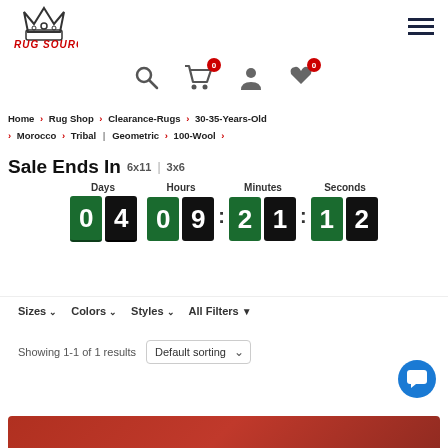[Figure (logo): Rug Source logo with crown icon and red italic text]
[Figure (infographic): Navigation icons: search, shopping cart with badge 0, user account, wishlist heart with badge 0]
Home > Rug Shop > Clearance-Rugs > 30-35-Years-Old > Morocco > Tribal | Geometric > 100-Wool >
Sale Ends In 6x11 | 3x6
[Figure (infographic): Countdown timer showing 04 days, 09 hours, 21 minutes, 12 seconds on green and dark flip tiles]
Sizes ∨   Colors ∨   Styles ∨   All Filters ▼
Showing 1-1 of 1 results   Default sorting ▾
[Figure (photo): Partial view of a red Moroccan rug product at the bottom of the page]